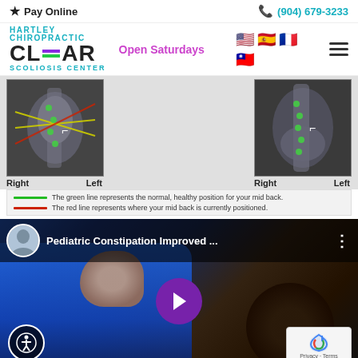Pay Online | (904) 679-3233
[Figure (logo): Hartley Chiropractic CLEAR Scoliosis Center logo with Open Saturdays text, language flags, and hamburger menu]
[Figure (photo): Two X-ray images side by side showing spinal scans with Right and Left labels]
The green line represents the normal, healthy position for your mid back.
The red line represents where your mid back is currently positioned.
[Figure (screenshot): Video thumbnail for 'Pediatric Constipation Improved...' showing a doctor working with a patient, with play button overlay]